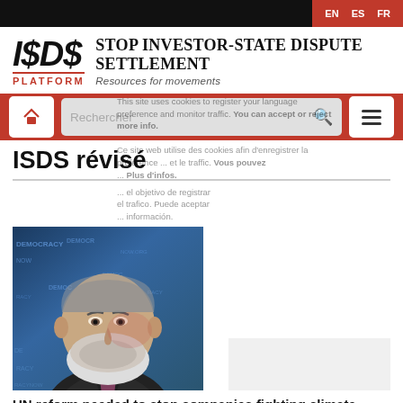EN  ES  FR
[Figure (logo): ISDS Platform logo – stylized I$D$ text with PLATFORM below in red, beside Stop Investor-State Dispute Settlement heading and Resources for movements subtitle]
[Figure (screenshot): Website navigation bar with home button, search box labelled Rechercher, and hamburger menu button on red background]
This site uses cookies to register your language preference and monitor traffic. You can accept or reject. More info.
ISDS révisé
Ce site web utilise des cookies afin d'enregistrer la ... et le traffic. Vous pouvez ... Plus d'infos.
... el objetivo de registrar ... el trafico. Puede aceptar ... información.
[Figure (photo): Photo of Joseph Stiglitz, Nobel laureate, seated against a Democracy Now blue background]
UN reform needed to stop companies fighting climate rules : Nobel laureate Stiglitz